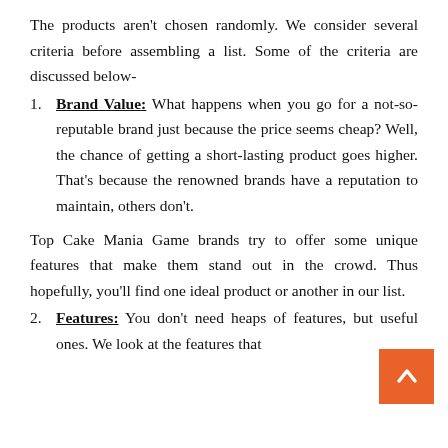The products aren't chosen randomly. We consider several criteria before assembling a list. Some of the criteria are discussed below-
Brand Value: What happens when you go for a not-so-reputable brand just because the price seems cheap? Well, the chance of getting a short-lasting product goes higher. That's because the renowned brands have a reputation to maintain, others don't.
Top Cake Mania Game brands try to offer some unique features that make them stand out in the crowd. Thus hopefully, you'll find one ideal product or another in our list.
Features: You don't need heaps of features, but useful ones. We look at the features that